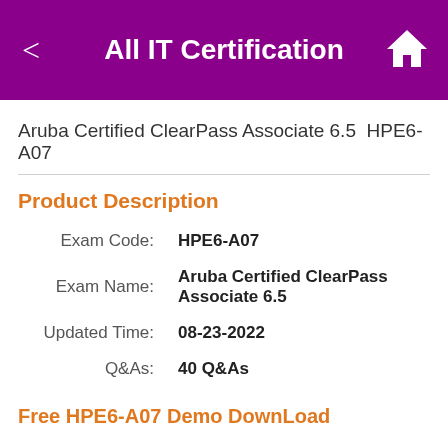All IT Certification
Aruba Certified ClearPass Associate 6.5  HPE6-A07
Product Description
| Field | Value |
| --- | --- |
| Exam Code: | HPE6-A07 |
| Exam Name: | Aruba Certified ClearPass Associate 6.5 |
| Updated Time: | 08-23-2022 |
| Q&As: | 40 Q&As |
Free HPE6-A07 Demo DownLoad